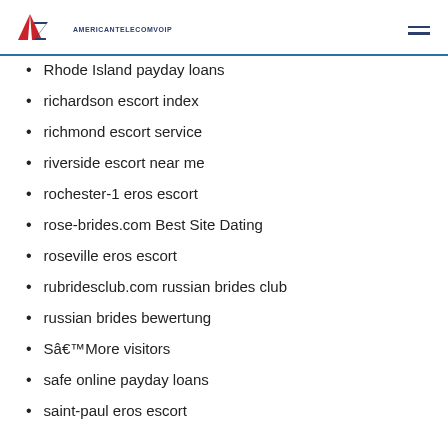AMERICANTELECOMVOIP
Rhode Island payday loans
richardson escort index
richmond escort service
riverside escort near me
rochester-1 eros escort
rose-brides.com Best Site Dating
roseville eros escort
rubridesclub.com russian brides club
russian brides bewertung
Sâ€™More visitors
safe online payday loans
saint-paul eros escort